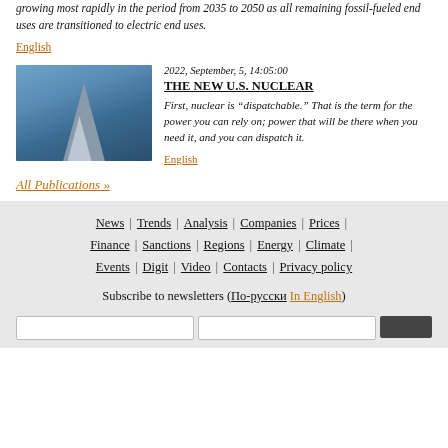growing most rapidly in the period from 2035 to 2050 as all remaining fossil-fueled end uses are transitioned to electric end uses.
English
2022, September, 5, 14:05:00
[Figure (photo): Nuclear power plant cooling tower under construction]
THE NEW U.S. NUCLEAR
First, nuclear is "dispatchable." That is the term for the power you can rely on; power that will be there when you need it, and you can dispatch it.
English
All Publications »
News | Trends | Analysis | Companies | Prices | Finance | Sanctions | Regions | Energy | Climate | Events | Digit | Video | Contacts | Privacy policy
Subscribe to newsletters (По-русски In English)